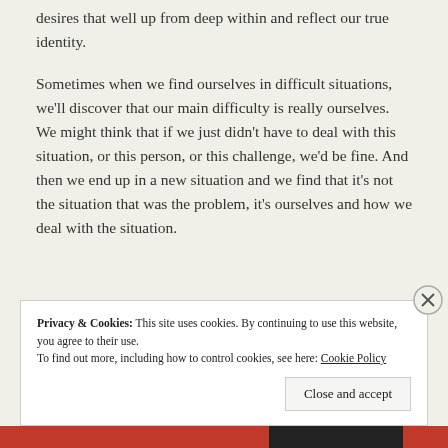desires that well up from deep within and reflect our true identity.
Sometimes when we find ourselves in difficult situations, we'll discover that our main difficulty is really ourselves. We might think that if we just didn't have to deal with this situation, or this person, or this challenge, we'd be fine. And then we end up in a new situation and we find that it's not the situation that was the problem, it's ourselves and how we deal with the situation.
Privacy & Cookies: This site uses cookies. By continuing to use this website, you agree to their use.
To find out more, including how to control cookies, see here: Cookie Policy
Close and accept